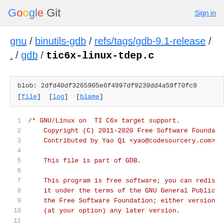Google Git  Sign in
gnu / binutils-gdb / refs/tags/gdb-9.1-release / . / gdb / tic6x-linux-tdep.c
blob: 2dfd40df3265905e6f4997df9239dd4a59f70fc9
[file] [log] [blame]
1   /* GNU/Linux on  TI C6x target support.
2       Copyright (C) 2011-2020 Free Software Founda
3       Contributed by Yao Qi <yao@codesourcery.com>
4
5       This file is part of GDB.
6
7       This program is free software; you can redis
8       it under the terms of the GNU General Public
9       the Free Software Foundation; either version
10      (at your option) any later version.
11